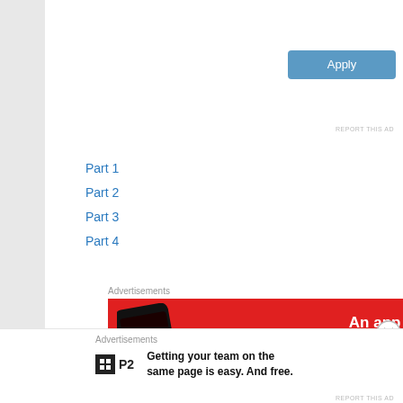[Figure (other): Apply button (blue rounded rectangle)]
[Figure (photo): Circular profile photo of a man sitting at a desk, resting his chin on his hand, wearing glasses and a beige shirt]
REPORT THIS AD
Part 1
Part 2
Part 3
Part 4
Advertisements
[Figure (illustration): Red advertisement banner. Left side shows a smartphone with 'Dis-trib-uted' text on its screen. Right side has bold white text: 'An app by listeners, for listeners.']
Advertisements
[Figure (logo): P2 logo (black square with white grid icon, followed by 'P2' in bold black)]
Getting your team on the same page is easy. And free.
REPORT THIS AD